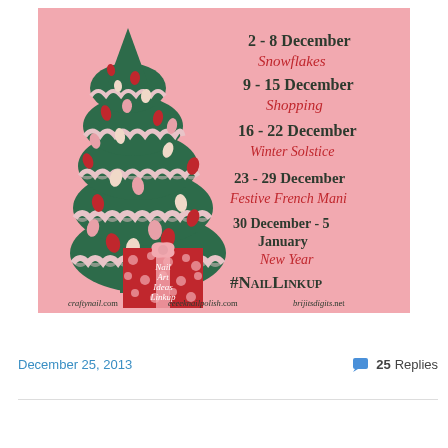[Figure (infographic): Christmas nail art linkup promotional graphic. Pink background with illustrated green Christmas tree decorated with red and cream leaf ornaments. Red gift box with pink polka dots in front of tree. Text lists themed weeks: 2-8 December Snowflakes, 9-15 December Shopping, 16-22 December Winter Solstice, 23-29 December Festive French Mani, 30 December-5 January New Year. #NailLinkup hashtag. Websites: craftynail.com, eeeeknailpolish.com, brijitsdigits.net. Center text on gift box: Nail Art Ideas Linkup.]
December 25, 2013
25 Replies